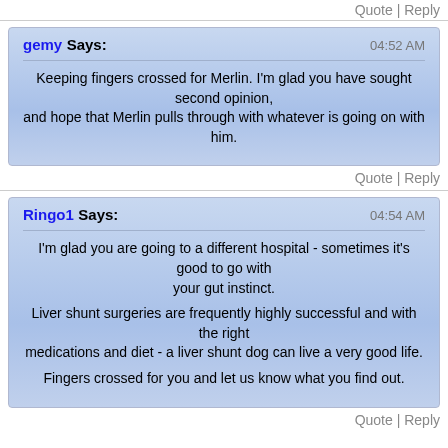Quote | Reply
gemy Says: 04:52 AM
Keeping fingers crossed for Merlin. I'm glad you have sought second opinion, and hope that Merlin pulls through with whatever is going on with him.
Quote | Reply
Ringo1 Says: 04:54 AM
I'm glad you are going to a different hospital - sometimes it's good to go with your gut instinct.
Liver shunt surgeries are frequently highly successful and with the right medications and diet - a liver shunt dog can live a very good life.
Fingers crossed for you and let us know what you find out.
Quote | Reply